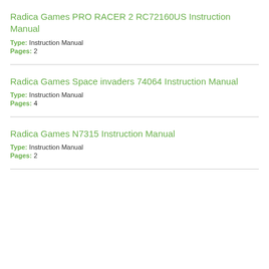Radica Games PRO RACER 2 RC72160US Instruction Manual
Type: Instruction Manual
Pages: 2
Radica Games Space invaders 74064 Instruction Manual
Type: Instruction Manual
Pages: 4
Radica Games N7315 Instruction Manual
Type: Instruction Manual
Pages: 2